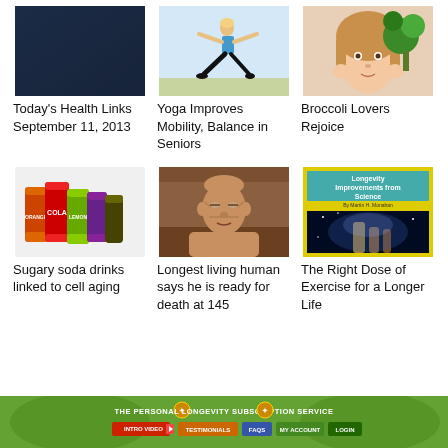[Figure (photo): Dark blue abstract background image]
[Figure (photo): Woman doing yoga pose outdoors]
[Figure (photo): Young girl holding broccoli]
Today's Health Links September 11, 2013
Yoga Improves Mobility, Balance in Seniors
Broccoli Lovers Rejoice
[Figure (photo): Colorful soda cans including Cola, Orange, Lemon]
[Figure (photo): Elderly man said to be 145 years old]
[Figure (illustration): Book cover: Longevity Improvements from Science by Martin H. Monahan, with space nebula image]
Sugary soda drinks linked to cell aging
Longest living human says he is ready for death at 145
The Right Dose of Exercise for a Longer Life
[Figure (screenshot): The Personal Longevity Subscription Service banner with green background, logo, and navigation buttons]